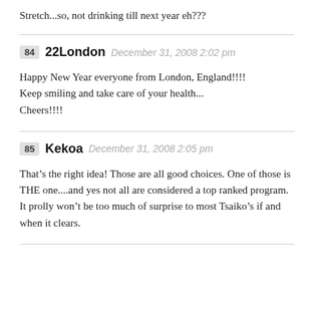Stretch...so, not drinking till next year eh???
84 22London December 31, 2008 2:02 pm
Happy New Year everyone from London, England!!!!
Keep smiling and take care of your health...
Cheers!!!!
85 Kekoa December 31, 2008 2:05 pm
That’s the right idea! Those are all good choices. One of those is THE one....and yes not all are considered a top ranked program. It prolly won’t be too much of surprise to most Tsaiko’s if and when it clears.